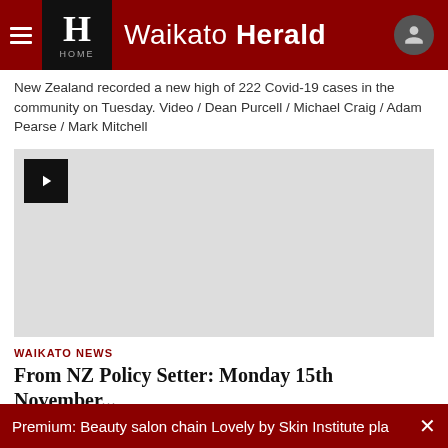Waikato Herald
New Zealand recorded a new high of 222 Covid-19 cases in the community on Tuesday. Video / Dean Purcell / Michael Craig / Adam Pearse / Mark Mitchell
[Figure (screenshot): Video player placeholder — grey rectangle with black play button in top-left corner]
WAIKATO NEWS
From NZ Policy Setter: Monday 15th November...
Premium: Beauty salon chain Lovely by Skin Institute pla